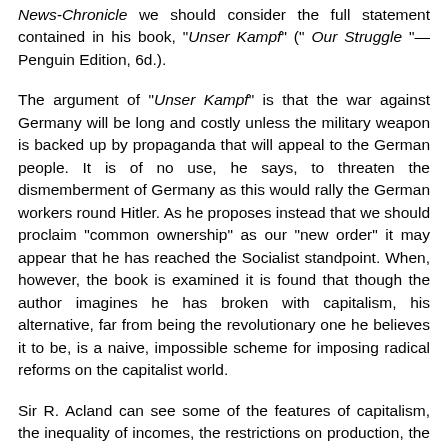News-Chronicle we should consider the full statement contained in his book, "Unser Kampf" (" Our Struggle "— Penguin Edition, 6d.).
The argument of "Unser Kampf" is that the war against Germany will be long and costly unless the military weapon is backed up by propaganda that will appeal to the German people. It is of no use, he says, to threaten the dismemberment of Germany as this would rally the German workers round Hitler. As he proposes instead that we should proclaim "common ownership" as our "new order" it may appear that he has reached the Socialist standpoint. When, however, the book is examined it is found that though the author imagines he has broken with capitalism, his alternative, far from being the revolutionary one he believes it to be, is a naive, impossible scheme for imposing radical reforms on the capitalist world.
Sir R. Acland can see some of the features of capitalism, the inequality of incomes, the restrictions on production, the monopolies, unemployment, etc., but he gives no sign of understanding that the monetary system, the production of